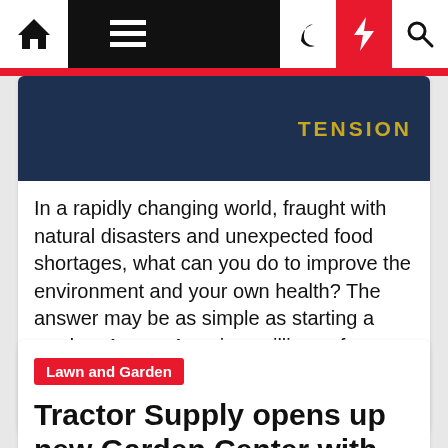Navigation bar with home, menu, moon, lightning, search icons
[Figure (photo): Dark blue denim fabric with partial text 'EXTENSION' in gold/yellow lettering]
In a rapidly changing world, fraught with natural disasters and unexpected food shortages, what can you do to improve the environment and your own health? The answer may be as simple as starting a garden. Across America, millions of backyards contain the right ingredients to sustain the production of food. If you [...]
Lawn and Garden
Tractor Supply opens up new Garden Center with renovations